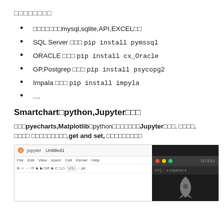□□□□□□□□
□□□□□□□mysql,sqlite,API,EXCEL□□
SQL Server □□□ pip install pymssql
ORACLE □□□ pip install cx_Oracle
GP,Postgrep □□□ pip install psycopg2
Impala □□□ pip install impyla
....
Smartchart□python,Jupyter□□□
□□□pyecharts,Matplotlib□python□□□□□□□Jupyter□□□, □□□□, □□□□ □□□□□□□□□,get and set, □□□□□□□□□
[Figure (screenshot): Screenshot of Jupyter Notebook interface (Untitled1) with a dark macOS terminal window overlay showing traffic light buttons and a rocket icon]